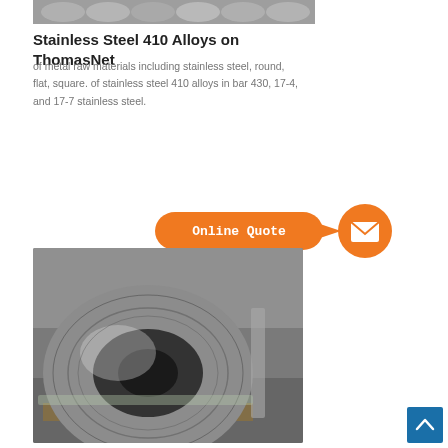[Figure (photo): Close-up photo of stainless steel round bar/tube ends, top portion visible]
Stainless Steel 410 Alloys on ThomasNet
of metal raw materials including stainless steel, round, flat, square. of stainless steel 410 alloys in bar 430, 17-4, and 17-7 stainless steel.
[Figure (infographic): Orange 'Online Quote' speech bubble button with envelope mail circle icon]
[Figure (photo): Large coiled roll of stainless steel sheet metal on a warehouse floor]
[Figure (other): Blue scroll-to-top button with upward arrow chevron, bottom right corner]